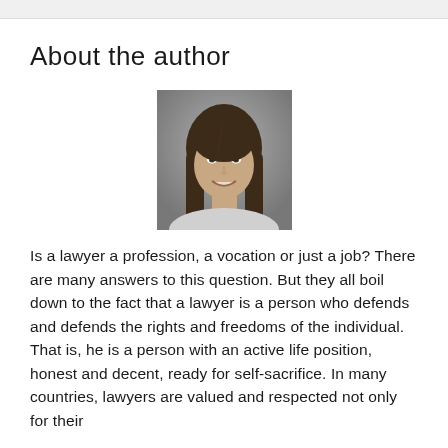About the author
[Figure (photo): Headshot photograph of a woman with long brown hair, smiling, against a grey background.]
Is a lawyer a profession, a vocation or just a job? There are many answers to this question. But they all boil down to the fact that a lawyer is a person who defends and defends the rights and freedoms of the individual. That is, he is a person with an active life position, honest and decent, ready for self-sacrifice. In many countries, lawyers are valued and respected not only for their